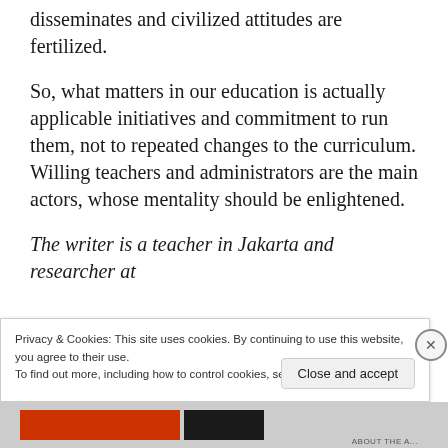disseminates and civilized attitudes are fertilized.
So, what matters in our education is actually applicable initiatives and commitment to run them, not to repeated changes to the curriculum. Willing teachers and administrators are the main actors, whose mentality should be enlightened.
The writer is a teacher in Jakarta and researcher at
Privacy & Cookies: This site uses cookies. By continuing to use this website, you agree to their use.
To find out more, including how to control cookies, see here: Cookie Policy